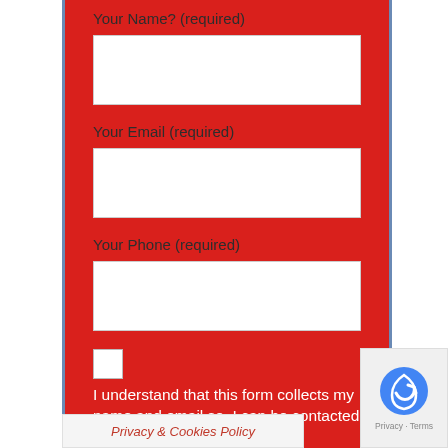Your Name? (required)
Your Email (required)
Your Phone (required)
I understand that this form collects my name and email so, I can be contacted for commu...
Privacy & Cookies Policy